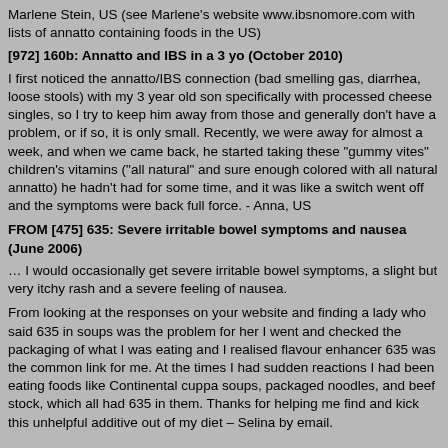Marlene Stein, US (see Marlene's website www.ibsnomore.com with lists of annatto containing foods in the US)
[972] 160b: Annatto and IBS in a 3 yo (October 2010)
I first noticed the annatto/IBS connection (bad smelling gas, diarrhea, loose stools) with my 3 year old son specifically with processed cheese singles, so I try to keep him away from those and generally don't have a problem, or if so, it is only small. Recently, we were away for almost a week, and when we came back, he started taking these "gummy vites" children's vitamins ("all natural" and sure enough colored with all natural annatto) he hadn't had for some time, and it was like a switch went off and the symptoms were back full force. - Anna, US
FROM [475] 635: Severe irritable bowel symptoms and nausea (June 2006)
… I would occasionally get severe irritable bowel symptoms, a slight but very itchy rash and a severe feeling of nausea.
From looking at the responses on your website and finding a lady who said 635 in soups was the problem for her I went and checked the packaging of what I was eating and I realised flavour enhancer 635 was the common link for me. At the times I had sudden reactions I had been eating foods like Continental cuppa soups, packaged noodles, and beef stock, which all had 635 in them. Thanks for helping me find and kick this unhelpful additive out of my diet – Selina by email.